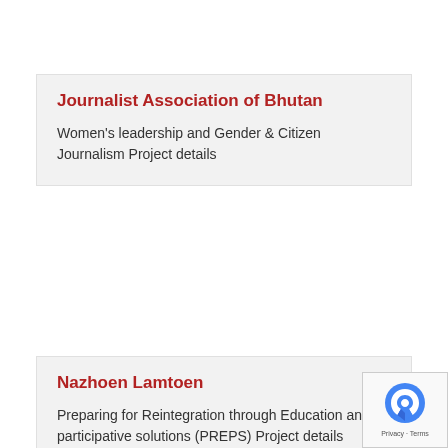Journalist Association of Bhutan
Women's leadership and Gender & Citizen Journalism Project details
Nazhoen Lamtoen
Preparing for Reintegration through Education and participative solutions (PREPS) Project details